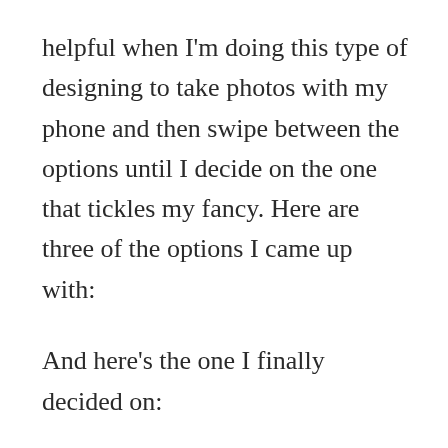helpful when I'm doing this type of designing to take photos with my phone and then swipe between the options until I decide on the one that tickles my fancy. Here are three of the options I came up with:
And here's the one I finally decided on: